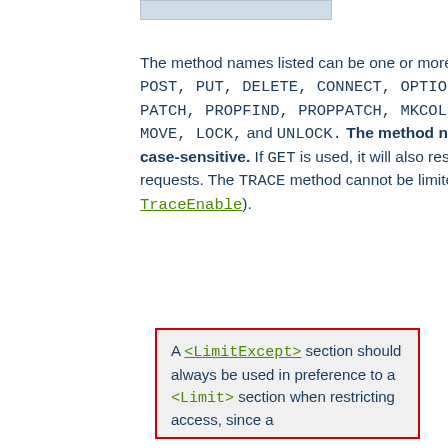[Figure (other): Partial image at top of page, light blue/grey rectangle]
The method names listed can be one or more of: GET, POST, PUT, DELETE, CONNECT, OPTIONS, PATCH, PROPFIND, PROPPATCH, MKCOL, COPY, MOVE, LOCK, and UNLOCK. The method name is case-sensitive. If GET is used, it will also restrict HEAD requests. The TRACE method cannot be limited (see TraceEnable).
A <LimitExcept> section should always be used in preference to a <Limit> section when restricting access, since a